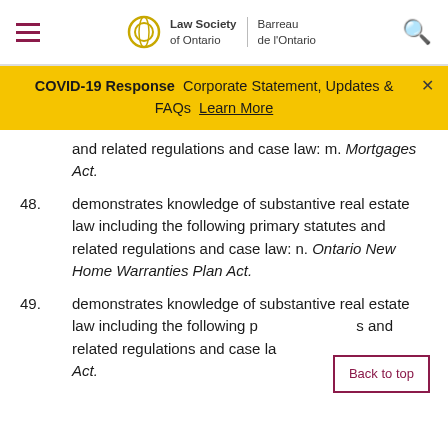Law Society of Ontario | Barreau de l'Ontario
COVID-19 Response  Corporate Statement, Updates & FAQs  Learn More
and related regulations and case law: m. Mortgages Act.
48. demonstrates knowledge of substantive real estate law including the following primary statutes and related regulations and case law: n. Ontario New Home Warranties Plan Act.
49. demonstrates knowledge of substantive real estate law including the following primary statutes and related regulations and case law: [Act.]